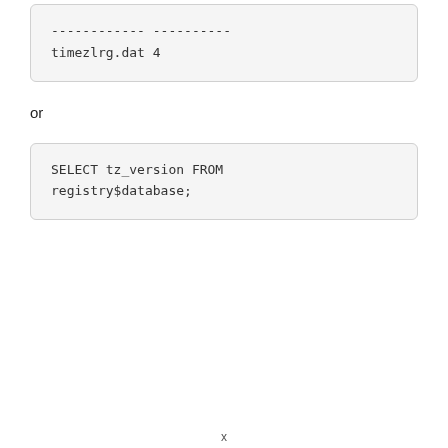------------ ----------
timezlrg.dat 4
or
SELECT tz_version FROM registry$database;
x